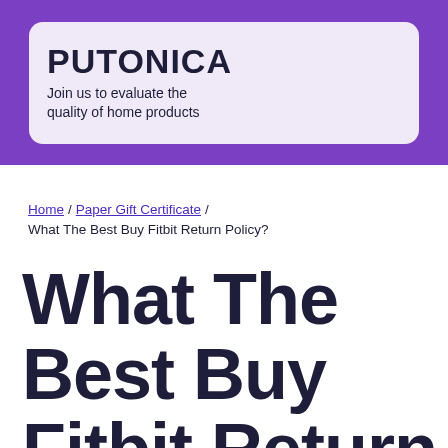PUTONICA
Join us to evaluate the quality of home products
Home / Paper Gift Certificate / What The Best Buy Fitbit Return Policy?
What The Best Buy Fitbit Return Policy?